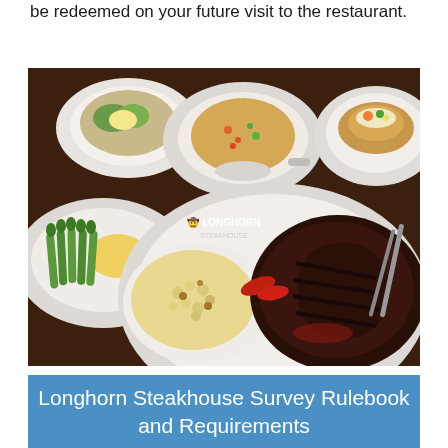be redeemed on your future visit to the restaurant.
[Figure (photo): Overhead view of a Longhorn Steakhouse table setting with multiple white plates containing various dishes: asparagus with butter, mac and cheese, a large grilled steak, rice pilaf, a baked potato, and a soup/side dish. A Longhorn Steakhouse logo is visible in the center of the image.]
Longhorn Steakhouse Survey Rulebook and Requirements